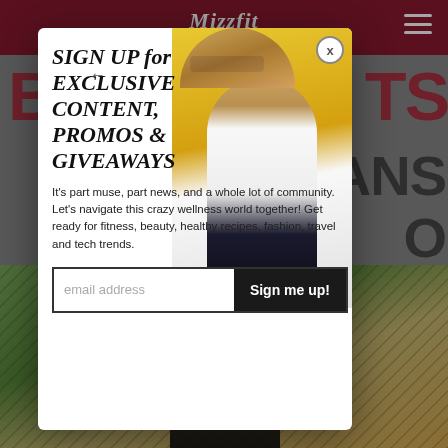[Figure (screenshot): Website screenshot of Mizzfit blog with a modal popup for email sign-up. Background shows maroon header with Mizzfit logo, large partially-visible text 'B...TS' in red and 'EANS O' in dark, and a bottom section with a chain-link fence/tennis court photo with a person. A white modal overlay contains a photo of a woman wearing sunglasses, sign-up headline text, body text, and email input form.]
Mizzfit
SIGN UP for EXCLUSIVE CONTENT, PROMOS & GIVEAWAYS
It's part muse, part news, and a whole lot of community. Let's navigate this crazy wellness world together! Get ready for fitness, beauty, healthy recipes, fashion, travel and tech trends.